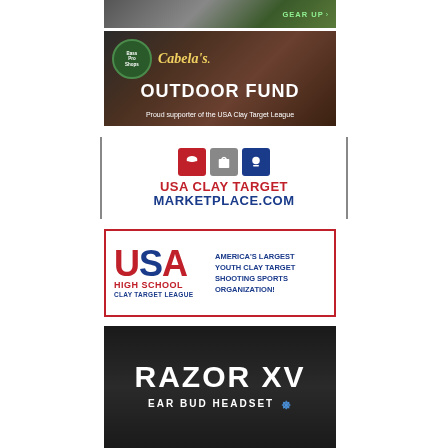[Figure (advertisement): Partial banner ad with dark background and green 'GEAR UP' text with arrow]
[Figure (advertisement): Bass Pro Shops and Cabela's Outdoor Fund ad - Proud supporter of the USA Clay Target League]
[Figure (advertisement): USA Clay Target Marketplace.com ad with hat, shirt, and clay target icons]
[Figure (advertisement): USA High School Clay Target League - America's Largest Youth Clay Target Shooting Sports Organization!]
[Figure (advertisement): Razor XV Ear Bud Headset advertisement with Bluetooth logo on dark background]